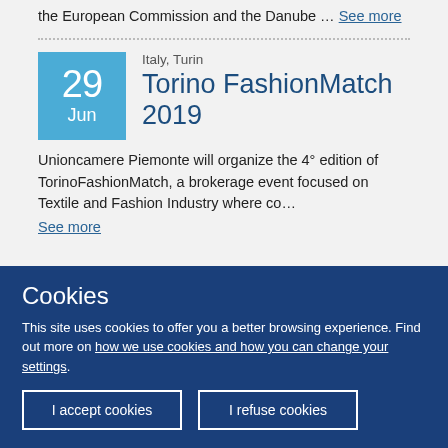the European Commission and the Danube … See more
Italy, Turin
Torino FashionMatch 2019
Unioncamere Piemonte will organize the 4° edition of TorinoFashionMatch, a brokerage event focused on Textile and Fashion Industry where co…
See more
Cookies
This site uses cookies to offer you a better browsing experience. Find out more on how we use cookies and how you can change your settings.
I accept cookies
I refuse cookies